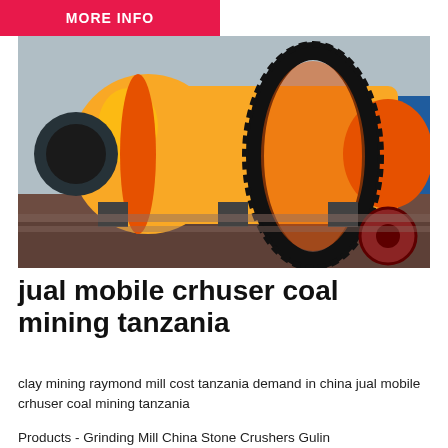MORE INFO
[Figure (photo): Industrial ball mill machine painted yellow/orange, mounted on a flatbed trailer with a large black gear ring around the drum. Blue container visible in the background.]
jual mobile crhuser coal mining tanzania
clay mining raymond mill cost tanzania demand in china jual mobile crhuser coal mining tanzania
Products - Grinding Mill China Stone Crushers Gulin